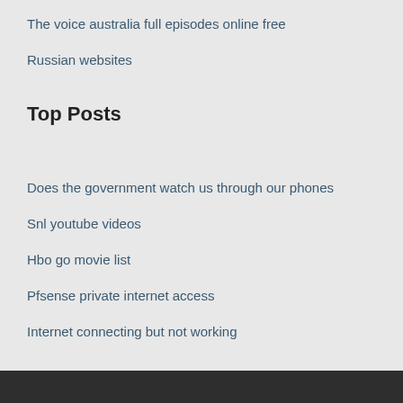The voice australia full episodes online free
Russian websites
Top Posts
Does the government watch us through our phones
Snl youtube videos
Hbo go movie list
Pfsense private internet access
Internet connecting but not working